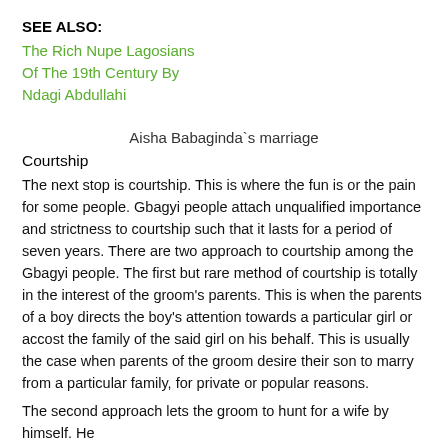SEE ALSO:
The Rich Nupe Lagosians Of The 19th Century By Ndagi Abdullahi
Aisha Babaginda`s marriage
Courtship
The next stop is courtship. This is where the fun is or the pain for some people. Gbagyi people attach unqualified importance and strictness to courtship such that it lasts for a period of seven years. There are two approach to courtship among the Gbagyi people. The first but rare method of courtship is totally in the interest of the groom's parents. This is when the parents of a boy directs the boy's attention towards a particular girl or accost the family of the said girl on his behalf. This is usually the case when parents of the groom desire their son to marry from a particular family, for private or popular reasons.
The second approach lets the groom to hunt for a wife by himself. He